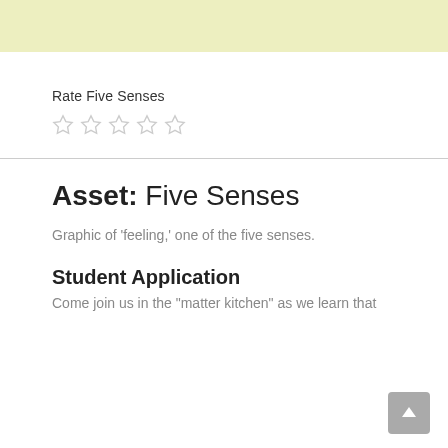Rate Five Senses
[Figure (other): Five empty star rating icons]
Asset: Five Senses
Graphic of 'feeling,' one of the five senses.
Student Application
Come join us in the "matter kitchen" as we learn that